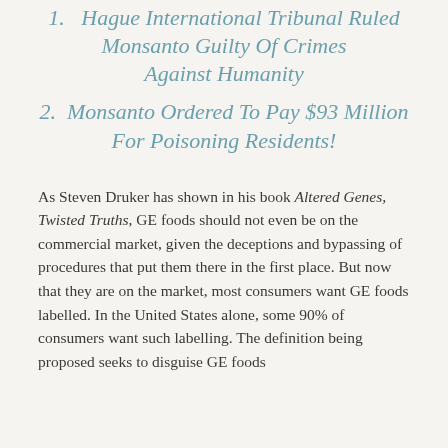1. Hague International Tribunal Ruled Monsanto Guilty Of Crimes Against Humanity
2. Monsanto Ordered To Pay $93 Million For Poisoning Residents!
As Steven Druker has shown in his book Altered Genes, Twisted Truths, GE foods should not even be on the commercial market, given the deceptions and bypassing of procedures that put them there in the first place. But now that they are on the market, most consumers want GE foods labelled. In the United States alone, some 90% of consumers want such labelling. The definition being proposed seeks to disguise GE foods